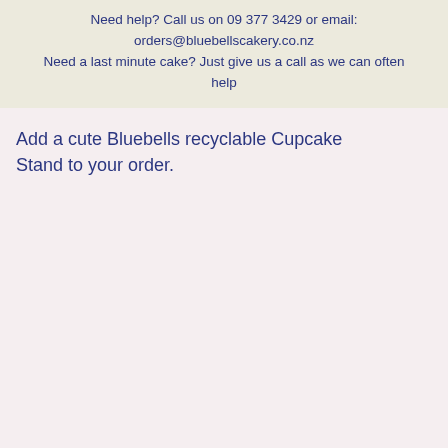Need help? Call us on 09 377 3429 or email: orders@bluebellscakery.co.nz Need a last minute cake? Just give us a call as we can often help
Add a cute Bluebells recyclable Cupcake Stand to your order.